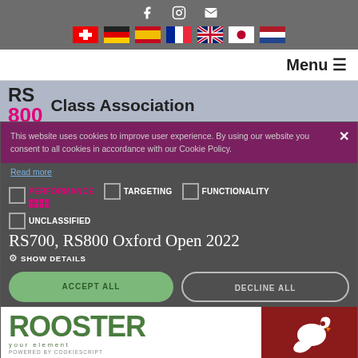[Figure (screenshot): Website header with social media icons (Facebook, Instagram, email) and country flag icons for Switzerland, Germany, Spain, France, UK, Japan, Netherlands on dark grey background]
Menu ≡
[Figure (logo): RS800 Class Association logo - RS in black bold, 800 in pink/magenta, followed by text 'Class Association']
This website uses cookies to improve user experience. By using our website you consent to all cookies in accordance with our Cookie Policy.
Read more
PERFORMANCE
TARGETING
FUNCTIONALITY
UNCLASSIFIED
RS700, RS800 Oxford Open 2022
SHOW DETAILS
ACCEPT ALL
DECLINE ALL
[Figure (logo): Rooster sailing brand logo - large green ROOSTER text with 'your element' subtitle, red background section with rooster bird icon, 'POWERED BY COOKIESCRIPT' text]
POWERED BY COOKIESCRIPT